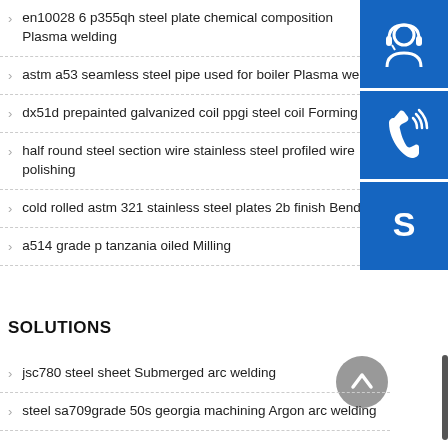en10028 6 p355qh steel plate chemical composition Plasma welding
astm a53 seamless steel pipe used for boiler Plasma we…
dx51d prepainted galvanized coil ppgi steel coil Forming
half round steel section wire stainless steel profiled wire polishing
cold rolled astm 321 stainless steel plates 2b finish Bend…
a514 grade p tanzania oiled Milling
[Figure (illustration): Three blue square icon buttons: headset/support icon, phone with signal waves icon, Skype 'S' logo icon]
SOLUTIONS
jsc780 steel sheet Submerged arc welding
steel sa709grade 50s georgia machining Argon arc welding